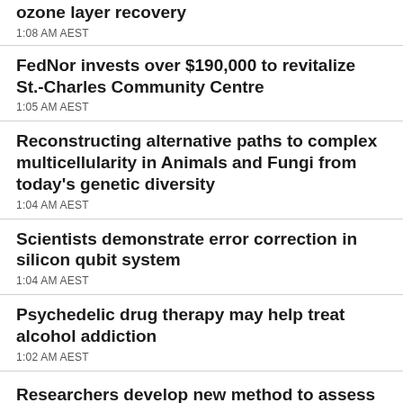ozone layer recovery
1:08 AM AEST
FedNor invests over $190,000 to revitalize St.-Charles Community Centre
1:05 AM AEST
Reconstructing alternative paths to complex multicellularity in Animals and Fungi from today's genetic diversity
1:04 AM AEST
Scientists demonstrate error correction in silicon qubit system
1:04 AM AEST
Psychedelic drug therapy may help treat alcohol addiction
1:02 AM AEST
Researchers develop new method to assess